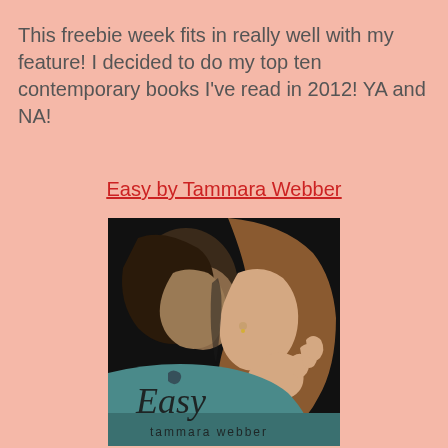This freebie week fits in really well with my feature! I decided to do my top ten contemporary books I've read in 2012! YA and NA!
Easy by Tammara Webber
[Figure (photo): Book cover of 'Easy' by Tammara Webber showing two people facing each other closely, one with dark hair and one with light brown hair, on a dark background. The title 'Easy' is written in script font and 'tammara webber' appears below.]